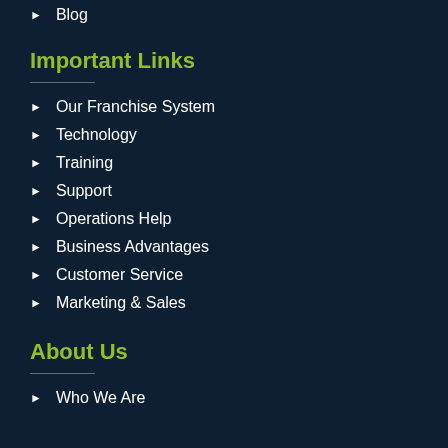Blog
Important Links
Our Franchise System
Technology
Training
Support
Operations Help
Business Advantages
Customer Service
Marketing & Sales
About Us
Who We Are